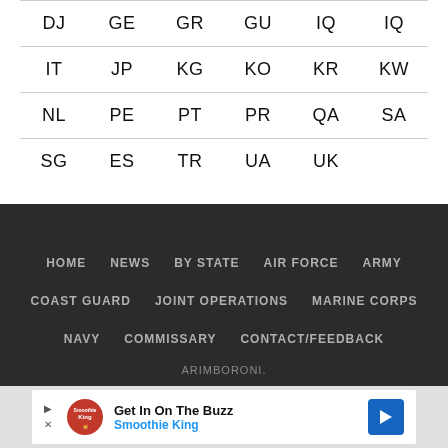| DJ | GE | GR | GU | IQ | IQ |
| IT | JP | KG | KO | KR | KW |
| NL | PE | PT | PR | QA | SA |
| SG | ES | TR | UA | UK |  |
HOME  NEWS  BY STATE  AIR FORCE  ARMY  COAST GUARD  JOINT OPERATIONS  MARINE CORPS  NAVY  COMMISSARY  CONTACT/FEEDBACK
[Figure (other): Advertisement banner for Smoothie King: 'Get In On The Buzz' with logo and blue arrow icon]